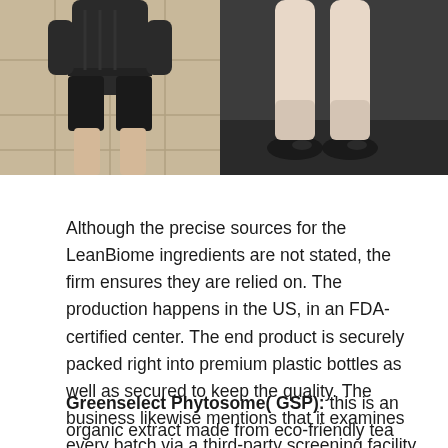[Figure (photo): Two side-by-side photos: left shows a person from behind wearing dark shorts standing on a beige tile floor; right shows legs of a person standing on a dark floor.]
Although the precise sources for the LeanBiome ingredients are not stated, the firm ensures they are relied on. The production happens in the US, in an FDA-certified center. The end product is securely packed right into premium plastic bottles as well as secured to keep the quality. The business likewise mentions that it examines every batch via a third-party screening facility to avoid the risk of contamination.
Greenselect Phytosome( GSP): this is an organic extract made from eco-friendly tea but with